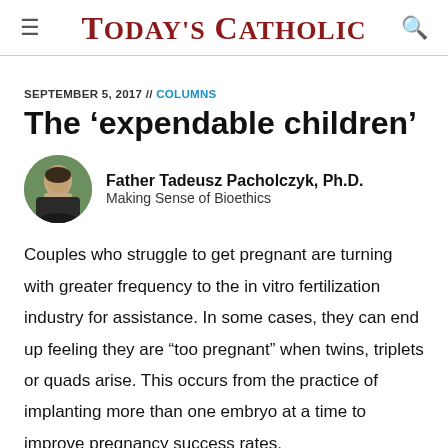TODAY'S CATHOLIC
SEPTEMBER 5, 2017 // COLUMNS
The ‘expendable children’
Father Tadeusz Pacholczyk, Ph.D.
Making Sense of Bioethics
Couples who struggle to get pregnant are turning with greater frequency to the in vitro fertilization industry for assistance. In some cases, they can end up feeling they are “too pregnant” when twins, triplets or quads arise. This occurs from the practice of implanting more than one embryo at a time to improve pregnancy success rates.